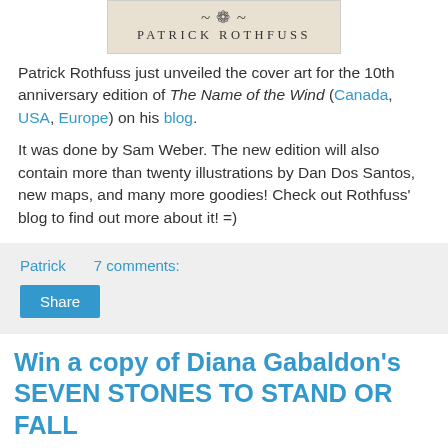[Figure (illustration): Book cover image showing 'Patrick Rothfuss' text in small caps on a tan/beige background]
Patrick Rothfuss just unveiled the cover art for the 10th anniversary edition of The Name of the Wind (Canada, USA, Europe) on his blog.
It was done by Sam Weber. The new edition will also contain more than twenty illustrations by Dan Dos Santos, new maps, and many more goodies! Check out Rothfuss' blog to find out more about it! =)
Patrick   7 comments:
Share
Win a copy of Diana Gabaldon's SEVEN STONES TO STAND OR FALL
[Figure (illustration): Bottom portion of a book cover with golden/orange background]